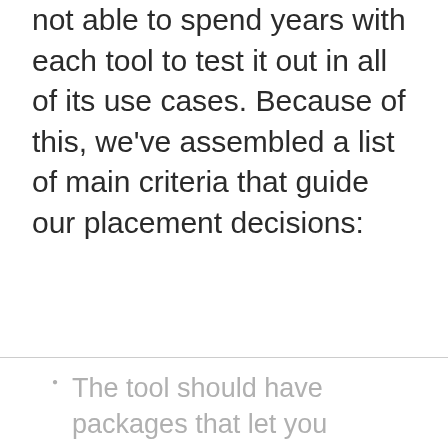not able to spend years with each tool to test it out in all of its use cases. Because of this, we've assembled a list of main criteria that guide our placement decisions:
The tool should have packages that let you monitor multiple mainframes.